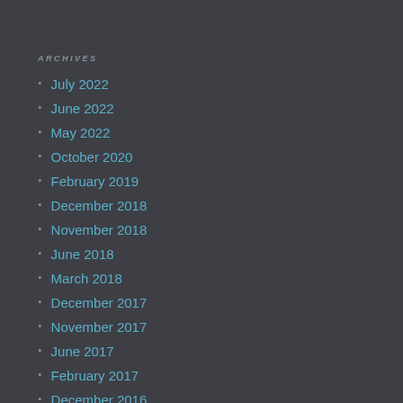ARCHIVES
July 2022
June 2022
May 2022
October 2020
February 2019
December 2018
November 2018
June 2018
March 2018
December 2017
November 2017
June 2017
February 2017
December 2016
November 2016
October 2016